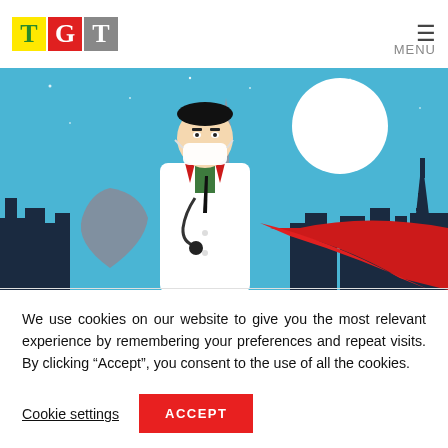TGT MENU
[Figure (illustration): Illustration of a doctor wearing a white coat, face mask, stethoscope, and red cape, holding a grey shield, standing in front of a city skyline at night with a large moon in the background.]
We use cookies on our website to give you the most relevant experience by remembering your preferences and repeat visits. By clicking “Accept”, you consent to the use of all the cookies.
Cookie settings   ACCEPT